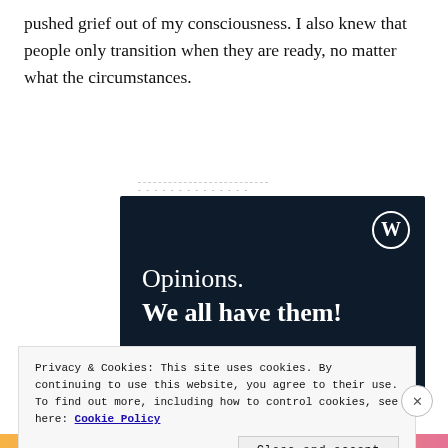pushed grief out of my consciousness. I also knew that people only transition when they are ready, no matter what the circumstances.
[Figure (screenshot): WordPress.com advertisement banner with dark navy background showing WordPress logo (W in circle) top right, text 'Opinions. We all have them!' in white serif font, a pink button at bottom left, and a white circle bottom right.]
Privacy & Cookies: This site uses cookies. By continuing to use this website, you agree to their use.
To find out more, including how to control cookies, see here: Cookie Policy